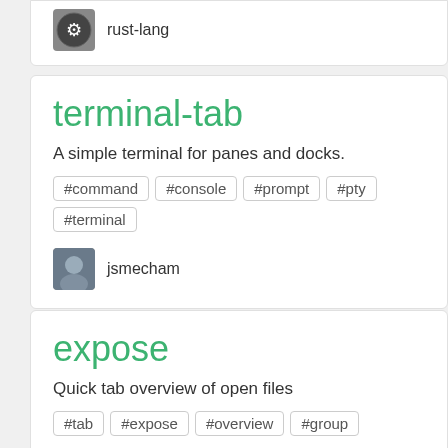rust-lang
terminal-tab
A simple terminal for panes and docks.
#command
#console
#prompt
#pty
#terminal
jsmecham
expose
Quick tab overview of open files
#tab
#expose
#overview
#group
mrodalgaard
ide-csharp